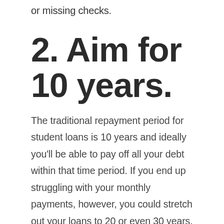or missing checks.
2. Aim for 10 years.
The traditional repayment period for student loans is 10 years and ideally you'll be able to pay off all your debt within that time period. If you end up struggling with your monthly payments, however, you could stretch out your loans to 20 or even 30 years. Your monthly payments will become more manageable, but you will end up paying a lot more in interest